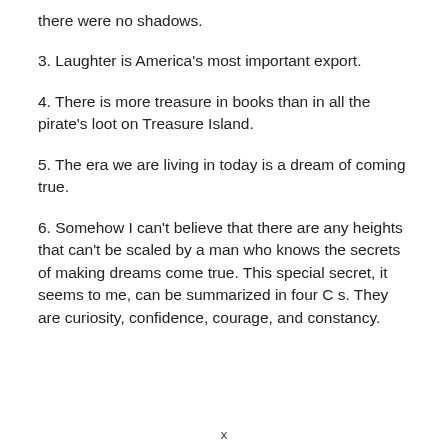there were no shadows.
3. Laughter is America's most important export.
4. There is more treasure in books than in all the pirate's loot on Treasure Island.
5. The era we are living in today is a dream of coming true.
6. Somehow I can't believe that there are any heights that can't be scaled by a man who knows the secrets of making dreams come true. This special secret, it seems to me, can be summarized in four C s. They are curiosity, confidence, courage, and constancy.
x